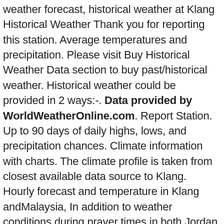weather forecast, historical weather at Klang Historical Weather Thank you for reporting this station. Average temperatures and precipitation. Please visit Buy Historical Weather Data section to buy past/historical weather. Historical weather could be provided in 2 ways:-. Data provided by WorldWeatherOnline.com. Report Station. Up to 90 days of daily highs, lows, and precipitation chances. Climate information with charts. The climate profile is taken from closest available data source to Klang. Hourly forecast and temperature in Klang andMalaysia, In addition to weather conditions during prayer times in both Jordan and Saudi Arabia. The last 2 weeks of past weather data for Klang are available for free evaluation here. *VAT: 20% VAT will only be charged if your company is based in UK/EU. Find local weather forecasts for Klang, Malaysia throughout the world Average monthly temperatures in Klang (degrees